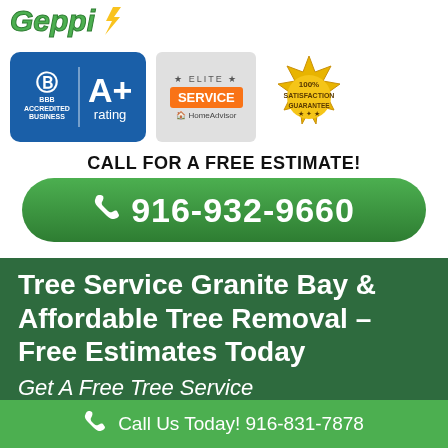[Figure (logo): Company logo with green stylized text at top]
[Figure (infographic): BBB A+ Accredited Business badge (blue), Elite Service HomeAdvisor badge (orange/grey), 100% Satisfaction Guarantee badge (gold)]
CALL FOR A FREE ESTIMATE!
☎ 916-932-9660
Tree Service Granite Bay & Affordable Tree Removal – Free Estimates Today
Get A Free Tree Service
Call Us Today! 916-831-7878